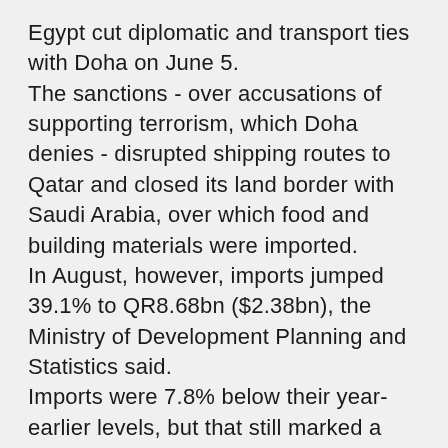Egypt cut diplomatic and transport ties with Doha on June 5. The sanctions - over accusations of supporting terrorism, which Doha denies - disrupted shipping routes to Qatar and closed its land border with Saudi Arabia, over which food and building materials were imported. In August, however, imports jumped 39.1% to QR8.68bn ($2.38bn), the Ministry of Development Planning and Statistics said. Imports were 7.8% below their year-earlier levels, but that still marked a major recovery from levels of June and July, when they dropped more than 35% year on year. Since the diplomatic crisis erupted, Qatari companies and foreign shippers have sought